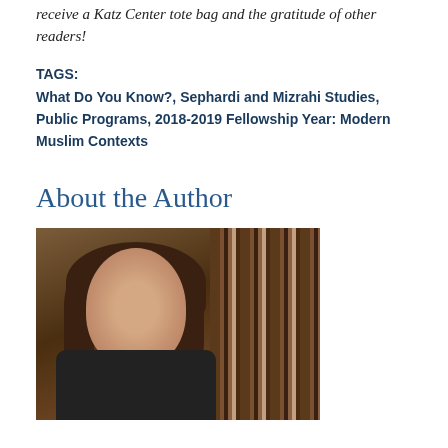receive a Katz Center tote bag and the gratitude of other readers!
TAGS:
What Do You Know?, Sephardi and Mizrahi Studies, Public Programs, 2018-2019 Fellowship Year: Modern Muslim Contexts
About the Author
[Figure (photo): Headshot of a woman with dark hair, smiling, in front of bookshelves]